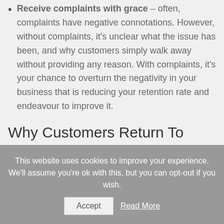Receive complaints with grace – often, complaints have negative connotations. However, without complaints, it's unclear what the issue has been, and why customers simply walk away without providing any reason. With complaints, it's your chance to overturn the negativity in your business that is reducing your retention rate and endeavour to improve it.
Why Customers Return To Grosvenor House
This website uses cookies to improve your experience. We'll assume you're ok with this, but you can opt-out if you wish.